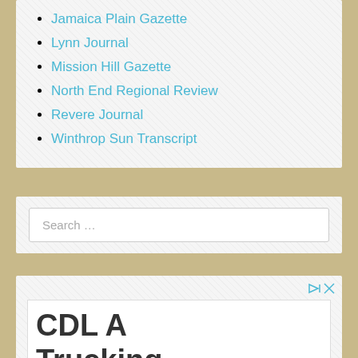Jamaica Plain Gazette
Lynn Journal
Mission Hill Gazette
North End Regional Review
Revere Journal
Winthrop Sun Transcript
Search …
[Figure (other): Advertisement box with play and close controls, containing 'CDL A Trucking' text in large bold font]